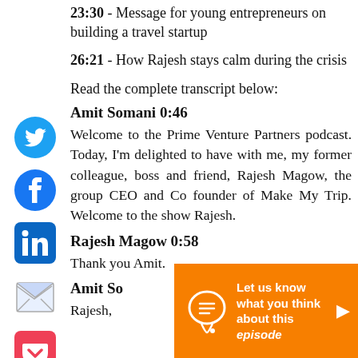23:30 - Message for young entrepreneurs on building a travel startup
26:21 - How Rajesh stays calm during the crisis
Read the complete transcript below:
Amit Somani 0:46
Welcome to the Prime Venture Partners podcast. Today, I'm delighted to have with me, my former colleague, boss and friend, Rajesh Magow, the group CEO and Co founder of Make My Trip. Welcome to the show Rajesh.
Rajesh Magow 0:58
Thank you Amit.
Amit Somani
Rajesh,
[Figure (infographic): Orange banner overlay: chat bubble icon with lines, text 'Let us know what you think about this episode' and a play arrow button]